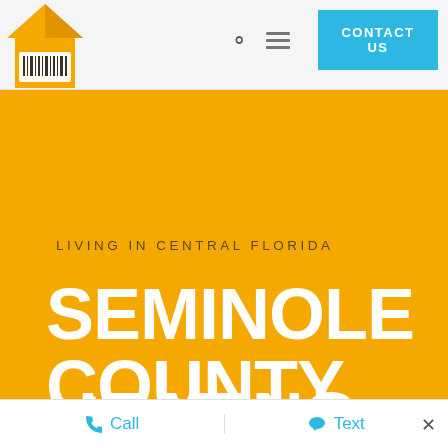[Figure (logo): Orange house-shaped logo with a barcode panel in the lower portion]
[Figure (infographic): Search (magnifying glass) and hamburger menu icons in the header navigation]
CONTACT US
LIVING IN CENTRAL FLORIDA
SEMINOLE COUNTY
Call   Text